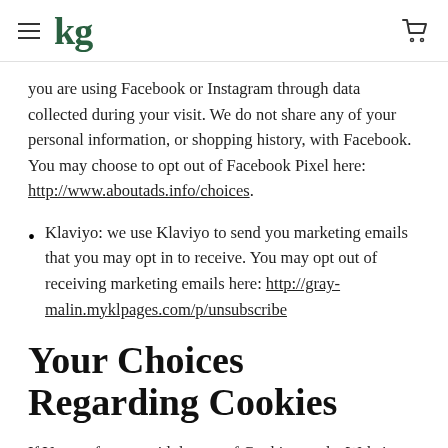kg
you are using Facebook or Instagram through data collected during your visit. We do not share any of your personal information, or shopping history, with Facebook. You may choose to opt out of Facebook Pixel here: http://www.aboutads.info/choices.
Klaviyo: we use Klaviyo to send you marketing emails that you may opt in to receive. You may opt out of receiving marketing emails here: http://gray-malin.myklpages.com/p/unsubscribe
Your Choices Regarding Cookies
If You prefer to avoid the use of Cookies on the Website, first